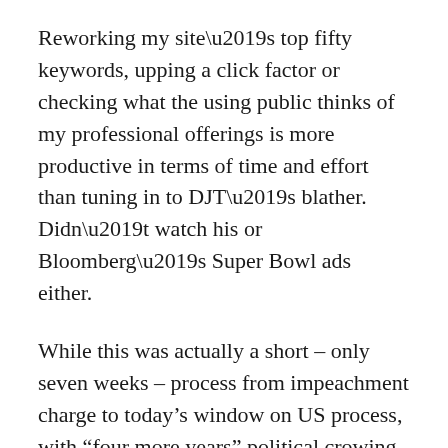Reworking my site’s top fifty keywords, upping a click factor or checking what the using public thinks of my professional offerings is more productive in terms of time and effort than tuning in to DJT’s blather. Didn’t watch his or Bloomberg’s Super Bowl ads either.
While this was actually a short – only seven weeks – process from impeachment charge to today’s window on US process, with “four more years” political crowing during State of the Union event, it’s doubtful Trump will have any awareness of having dodged a well laid-out bullet of impeachable facts. Like fixing the environment, any next times will be tougher to